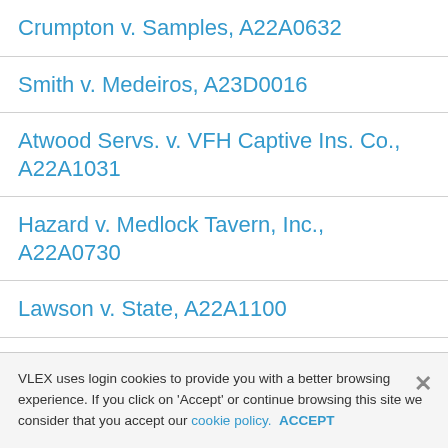Crumpton v. Samples, A22A0632
Smith v. Medeiros, A23D0016
Atwood Servs. v. VFH Captive Ins. Co., A22A1031
Hazard v. Medlock Tavern, Inc., A22A0730
Lawson v. State, A22A1100
McIntosh Cnty. Bd. of Tax Assessors v. Hallmark, A23I0009
Freeport Transp. v. Jackson, A23I0008
VLEX uses login cookies to provide you with a better browsing experience. If you click on 'Accept' or continue browsing this site we consider that you accept our cookie policy. ACCEPT